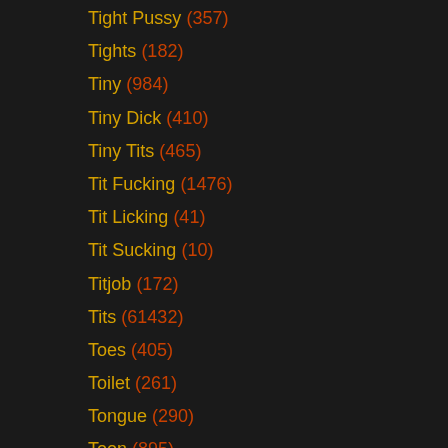Tight Pussy (357)
Tights (182)
Tiny (984)
Tiny Dick (410)
Tiny Tits (465)
Tit Fucking (1476)
Tit Licking (41)
Tit Sucking (10)
Titjob (172)
Tits (61432)
Toes (405)
Toilet (261)
Tongue (290)
Toon (895)
Topless (293)
Tourist (106)